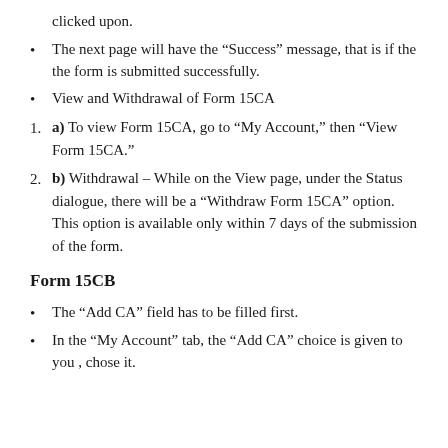clicked upon.
The next page will have the “Success” message, that is if the the form is submitted successfully.
View and Withdrawal of Form 15CA
a) To view Form 15CA, go to “My Account,” then “View Form 15CA.”
b) Withdrawal – While on the View page, under the Status dialogue, there will be a “Withdraw Form 15CA” option. This option is available only within 7 days of the submission of the form.
Form 15CB
The “Add CA” field has to be filled first.
In the “My Account” tab, the “Add CA” choice is given to you , chose it.